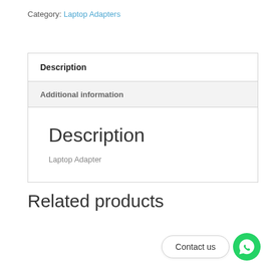Category: Laptop Adapters
Description
Additional information
Description
Laptop Adapter
Related products
Contact us